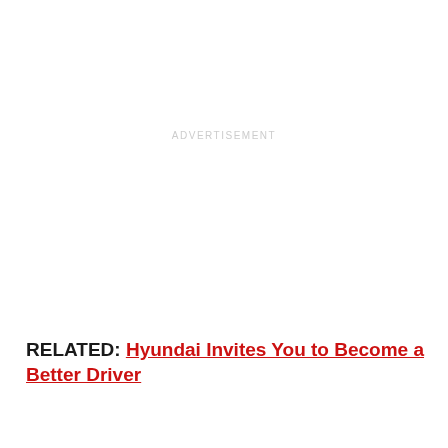ADVERTISEMENT
RELATED: Hyundai Invites You to Become a Better Driver